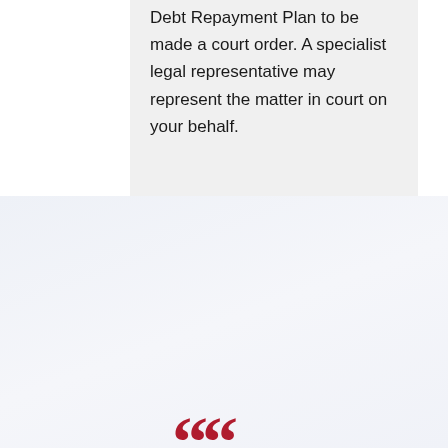Debt Repayment Plan to be made a court order. A specialist legal representative may represent the matter in court on your behalf.
[Figure (other): WhatsApp Us green button with WhatsApp icon]
[Figure (other): Scroll to top grey button with upward arrow]
““